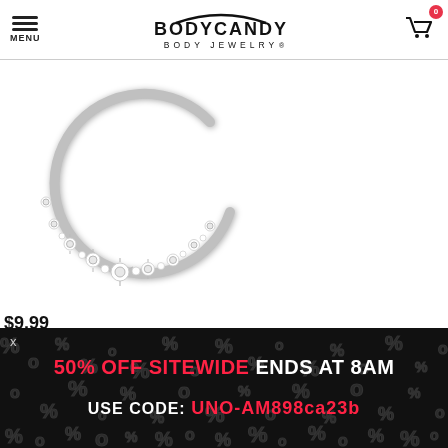MENU | BODY CANDY BODY JEWELRY | Cart (0)
[Figure (photo): Silver crystal-studded septum ring body jewelry on white background]
$9.99
Success! Product Added
x  50% OFF SITEWIDE ENDS AT 8AM  USE CODE: UNO-AM898ca23b